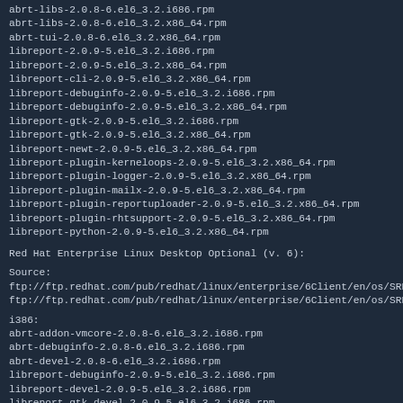abrt-libs-2.0.8-6.el6_3.2.i686.rpm
abrt-libs-2.0.8-6.el6_3.2.x86_64.rpm
abrt-tui-2.0.8-6.el6_3.2.x86_64.rpm
libreport-2.0.9-5.el6_3.2.i686.rpm
libreport-2.0.9-5.el6_3.2.x86_64.rpm
libreport-cli-2.0.9-5.el6_3.2.x86_64.rpm
libreport-debuginfo-2.0.9-5.el6_3.2.i686.rpm
libreport-debuginfo-2.0.9-5.el6_3.2.x86_64.rpm
libreport-gtk-2.0.9-5.el6_3.2.i686.rpm
libreport-gtk-2.0.9-5.el6_3.2.x86_64.rpm
libreport-newt-2.0.9-5.el6_3.2.x86_64.rpm
libreport-plugin-kerneloops-2.0.9-5.el6_3.2.x86_64.rpm
libreport-plugin-logger-2.0.9-5.el6_3.2.x86_64.rpm
libreport-plugin-mailx-2.0.9-5.el6_3.2.x86_64.rpm
libreport-plugin-reportuploader-2.0.9-5.el6_3.2.x86_64.rpm
libreport-plugin-rhtsupport-2.0.9-5.el6_3.2.x86_64.rpm
libreport-python-2.0.9-5.el6_3.2.x86_64.rpm
Red Hat Enterprise Linux Desktop Optional (v. 6):
Source:
ftp://ftp.redhat.com/pub/redhat/linux/enterprise/6Client/en/os/SRPMS/abrt-2.0.8
ftp://ftp.redhat.com/pub/redhat/linux/enterprise/6Client/en/os/SRPMS/libreport-2
i386:
abrt-addon-vmcore-2.0.8-6.el6_3.2.i686.rpm
abrt-debuginfo-2.0.8-6.el6_3.2.i686.rpm
abrt-devel-2.0.8-6.el6_3.2.i686.rpm
libreport-debuginfo-2.0.9-5.el6_3.2.i686.rpm
libreport-devel-2.0.9-5.el6_3.2.i686.rpm
libreport-gtk-devel-2.0.9-5.el6_3.2.i686.rpm
libreport-plugin-bugzilla-2.0.9-5.el6_3.2.i686.rpm